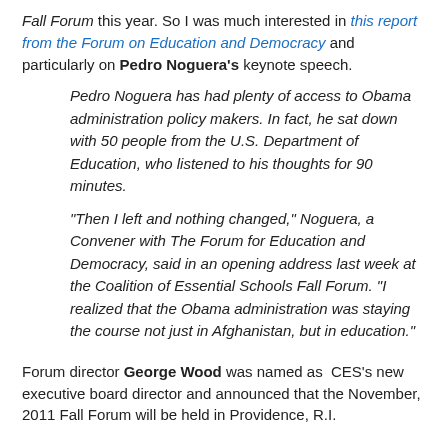Fall Forum this year. So I was much interested in this report from the Forum on Education and Democracy and particularly on Pedro Noguera's keynote speech.
Pedro Noguera has had plenty of access to Obama administration policy makers. In fact, he sat down with 50 people from the U.S. Department of Education, who listened to his thoughts for 90 minutes.
"Then I left and nothing changed," Noguera, a Convener with The Forum for Education and Democracy, said in an opening address last week at the Coalition of Essential Schools Fall Forum. "I realized that the Obama administration was staying the course not just in Afghanistan, but in education."
Forum director George Wood was named as CES's new executive board director and announced that the November, 2011 Fall Forum will be held in Providence, R.I.